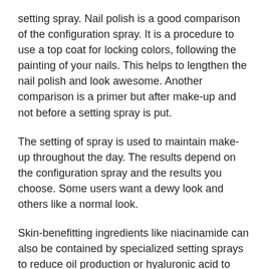setting spray. Nail polish is a good comparison of the configuration spray. It is a procedure to use a top coat for locking colors, following the painting of your nails. This helps to lengthen the nail polish and look awesome. Another comparison is a primer but after make-up and not before a setting spray is put.
The setting of spray is used to maintain make-up throughout the day. The results depend on the configuration spray and the results you choose. Some users want a dewy look and others like a normal look.
Skin-benefitting ingredients like niacinamide can also be contained by specialized setting sprays to reduce oil production or hyaluronic acid to maintain moisture in the skin.